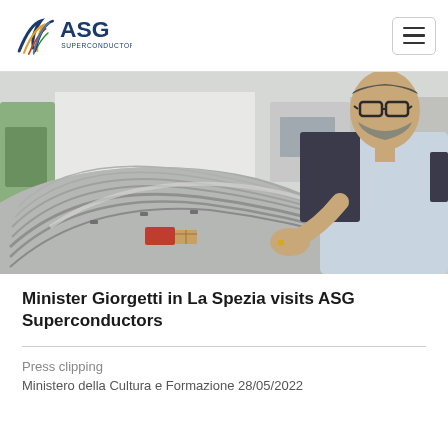ASG SUPERCONDUCTORS
[Figure (photo): A man wearing glasses and a light blue shirt leans over a large metallic superconductor component in an industrial laboratory setting, examining it closely.]
Minister Giorgetti in La Spezia visits ASG Superconductors
Press clipping
Ministero della Cultura e Formazione 28/05/2022